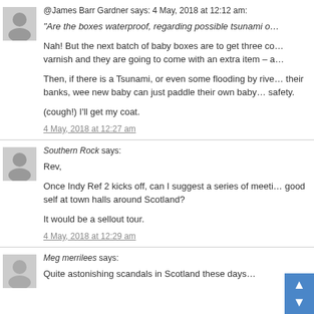@James Barr Gardner says: 4 May, 2018 at 12:12 am:
“Are the boxes waterproof, regarding possible tsunami o…
Nah! But the next batch of baby boxes are to get three co… varnish and they are going to come with an extra item – a…
Then, if there is a Tsunami, or even some flooding by rive… their banks, wee new baby can just paddle their own baby… safety.
(cough!) I'll get my coat.
4 May, 2018 at 12:27 am
Southern Rock says:
Rev,
Once Indy Ref 2 kicks off, can I suggest a series of meeti… good self at town halls around Scotland?
It would be a sellout tour.
4 May, 2018 at 12:29 am
Meg merrilees says:
Quite astonishing scandals in Scotland these days…